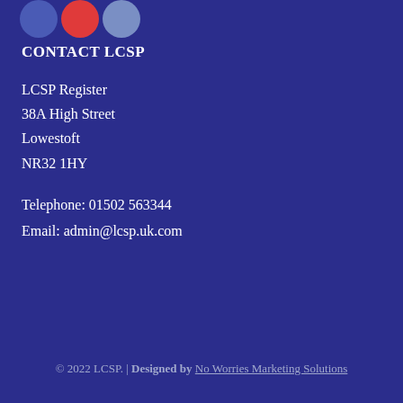[Figure (illustration): Three overlapping circles: dark blue, red, and light blue]
CONTACT LCSP
LCSP Register
38A High Street
Lowestoft
NR32 1HY
Telephone: 01502 563344
Email: admin@lcsp.uk.com
© 2022 LCSP. | Designed by No Worries Marketing Solutions